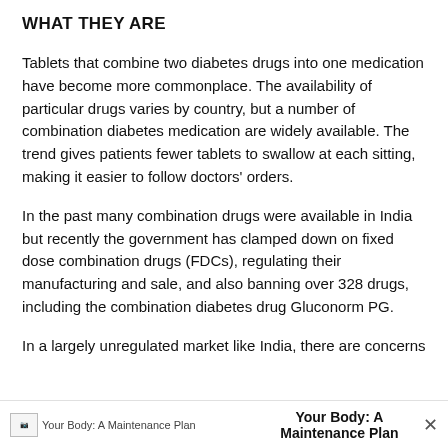WHAT THEY ARE
Tablets that combine two diabetes drugs into one medication have become more commonplace. The availability of particular drugs varies by country, but a number of combination diabetes medication are widely available. The trend gives patients fewer tablets to swallow at each sitting, making it easier to follow doctors’ orders.
In the past many combination drugs were available in India but recently the government has clamped down on fixed dose combination drugs (FDCs), regulating their manufacturing and sale, and also banning over 328 drugs, including the combination diabetes drug Gluconorm PG.
In a largely unregulated market like India, there are concerns
Your Body: A Maintenance Plan